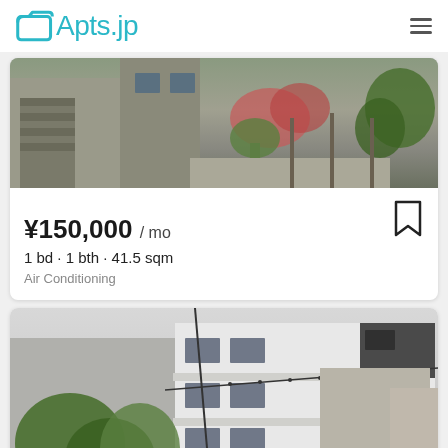Apts.jp
[Figure (photo): Exterior photo of a Japanese residential building with greenery and stairs visible]
¥150,000 / mo
1 bd · 1 bth · 41.5 sqm
Air Conditioning
[Figure (photo): Exterior photo of a modern multi-story Japanese apartment building with white facade and dark accents]